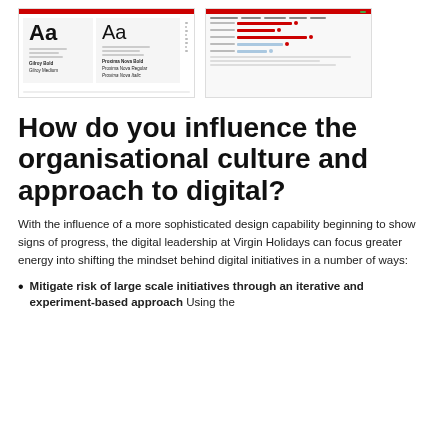[Figure (screenshot): Two screenshots side by side showing design system assets: left shows typography specimens with 'Aa' in bold and regular weights with font labels (Gilroy Bold, Gilroy Medium, Proxima Nova Bold, Proxima Nova Regular, Proxima Nova Italic), right shows a dashboard/table UI with red header bar and data rows with red markers.]
How do you influence the organisational culture and approach to digital?
With the influence of a more sophisticated design capability beginning to show signs of progress, the digital leadership at Virgin Holidays can focus greater energy into shifting the mindset behind digital initiatives in a number of ways:
Mitigate risk of large scale initiatives through an iterative and experiment-based approach Using the